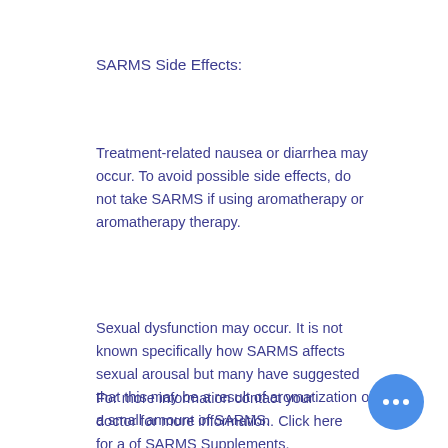SARMS Side Effects:
Treatment-related nausea or diarrhea may occur. To avoid possible side effects, do not take SARMS if using aromatherapy or aromatherapy therapy.
Sexual dysfunction may occur. It is not known specifically how SARMS affects sexual arousal but many have suggested that this may be a result of aromatization of a small amount of SARMS.
For more information contact your doctor for more information. Click here for a of SARMS Supplements.